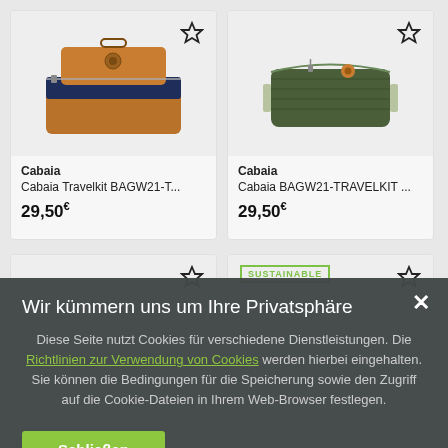[Figure (photo): Product card - Cabaia Travelkit bag (brown and navy), with star icon]
Cabaia
Cabaia Travelkit BAGW21-T...
29,50 €
[Figure (photo): Product card - Cabaia BAGW21-TRAVELKIT bag (olive green), with star icon]
Cabaia
Cabaia BAGW21-TRAVELKIT ...
29,50 €
[Figure (photo): Product card bottom left (partially visible), with star icon]
[Figure (photo): Product card bottom right with SUSTAINABLE badge and star icon (partially visible)]
Wir kümmern uns um Ihre Privatsphäre
Diese Seite nutzt Cookies für verschiedene Dienstleistungen. Die Richtlinien zur Verwendung von Cookies werden hierbei eingehalten. Sie können die Bedingungen für die Speicherung sowie den Zugriff auf die Cookie-Dateien in Ihrem Web-Browser festlegen.
Schließen